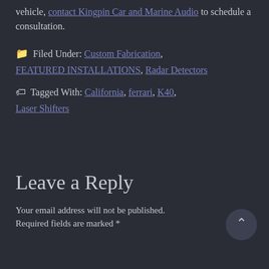vehicle, contact Kingpin Car and Marine Audio to schedule a consultation.
Filed Under: Custom Fabrication, FEATURED INSTALLATIONS, Radar Detectors
Tagged With: California, ferrari, K40, Laser Shifters
Leave a Reply
Your email address will not be published. Required fields are marked *